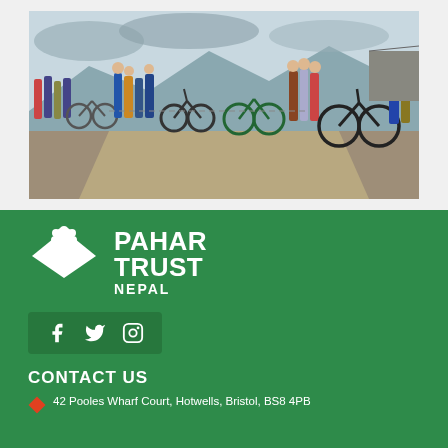[Figure (photo): Group of mountain bikers and spectators gathered on a dirt road with mountains in the background in Nepal]
[Figure (logo): Pahar Trust Nepal logo — white envelope and flower icon with bold white text PAHAR TRUST NEPAL on green background]
[Figure (infographic): Social media icons for Facebook, Twitter, and Instagram in a dark green box]
CONTACT US
42 Pooles Wharf Court, Hotwells, Bristol, BS8 4PB